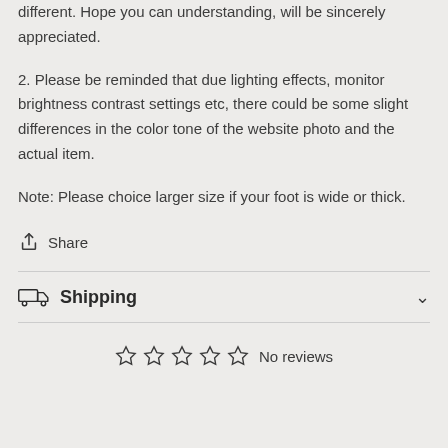different. Hope you can understanding, will be sincerely appreciated.
2. Please be reminded that due lighting effects, monitor brightness contrast settings etc, there could be some slight differences in the color tone of the website photo and the actual item.
Note: Please choice larger size if your foot is wide or thick.
Share
Shipping
No reviews